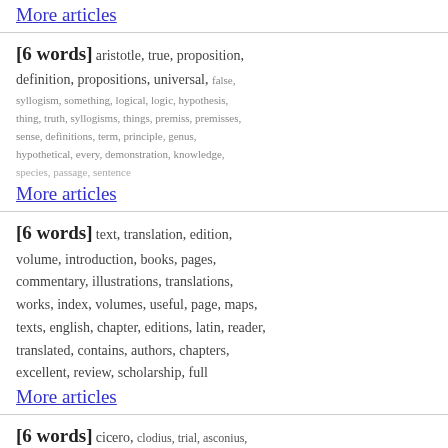More articles
[6 words] aristotle, true, proposition, definition, propositions, universal, false, syllogism, something, logical, logic, hypothesis, thing, truth, syllogisms, things, premiss, premisses, sense, definitions, term, principle, genus, hypothetical, every, demonstration, knowledge, species, passage, sentence
More articles
[6 words] text, translation, edition, volume, introduction, books, pages, commentary, illustrations, translations, works, index, volumes, useful, page, maps, texts, english, chapter, editions, latin, reader, translated, contains, authors, chapters, excellent, review, scholarship, full
More articles
[6 words] cicero, clodius, trial, asconius, verres, prosecution, caelius, verr, clodia, milo, speech, court, drusus, appian, extortion, quaestio, courts, equites, gracchus, trials, caelio, roscius, bribery, repetundarum, jurors, jury, lege, scaurus, maiestas,